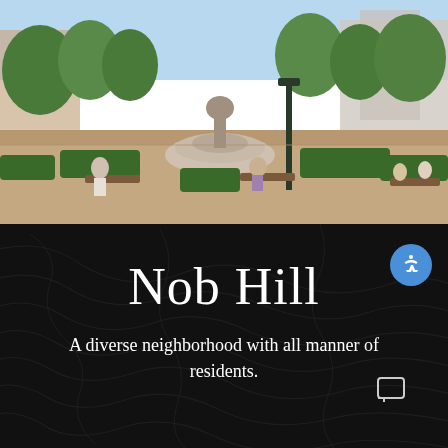[Figure (photo): Outdoor park scene with a central fountain, benches, green hedges, and people relaxing in a sunny urban plaza. Brick buildings and trees visible in the background.]
Nob Hill
A diverse neighborhood with all manner of residents.